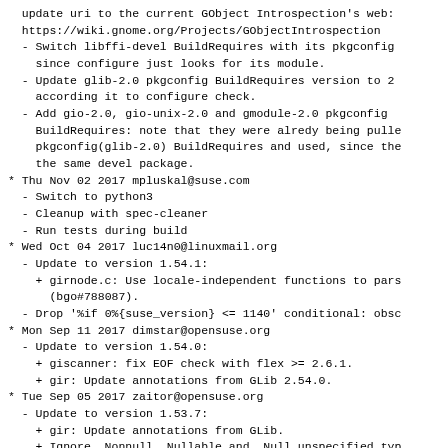update uri to the current GObject Introspection's web:
  https://wiki.gnome.org/Projects/GObjectIntrospection
- Switch libffi-devel BuildRequires with its pkgconfig
  since configure just looks for its module.
- Update glib-2.0 pkgconfig BuildRequires version to 2
  according it to configure check.
- Add gio-2.0, gio-unix-2.0 and gmodule-2.0 pkgconfig
  BuildRequires: note that they were alredy being pulle
  pkgconfig(glib-2.0) BuildRequires and used, since the
  the same devel package.
* Thu Nov 02 2017 mpluskal@suse.com
  - Switch to python3
  - Cleanup with spec-cleaner
  - Run tests during build
* Wed Oct 04 2017 luc14n0@linuxmail.org
  - Update to version 1.54.1:
    + girnode.c: Use locale-independent functions to pars
      (bgo#788087).
  - Drop '%if 0%{suse_version} <= 1140' conditional: obsc
* Mon Sep 11 2017 dimstar@opensuse.org
  - Update to version 1.54.0:
    + giscanner: fix EOF check with flex >= 2.6.1.
    + gir: Update annotations from GLib 2.54.0.
* Tue Sep 05 2017 zaitor@opensuse.org
  - Update to version 1.53.7:
    + gir: Update annotations from GLib.
    + Ignore _Nonnull,_Nullable and _Null_unspecified typ
      qualifiers.
    + build: Only generate .pc files for this package for
      builds.
* Wed Aug 09 2017 zaitor@opensuse.org